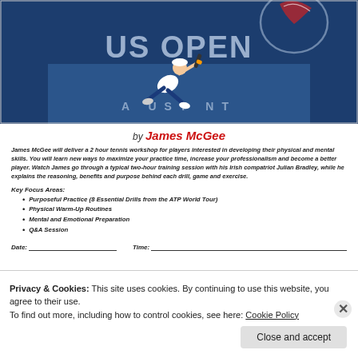[Figure (photo): US Open tennis tournament photo showing a player diving/sliding on a blue hard court with the US Open logo/banner in the background.]
by James McGee
James McGee will deliver a 2 hour tennis workshop for players interested in developing their physical and mental skills. You will learn new ways to maximize your practice time, increase your professionalism and become a better player. Watch James go through a typical two-hour training session with his Irish compatriot Julian Bradley, while he explains the reasoning, benefits and purpose behind each drill, game and exercise.
Key Focus Areas:
Purposeful Practice (8 Essential Drills from the ATP World Tour)
Physical Warm-Up Routines
Mental and Emotional Preparation
Q&A Session
Date:_________________ Time:_______________________
Privacy & Cookies: This site uses cookies. By continuing to use this website, you agree to their use.
To find out more, including how to control cookies, see here: Cookie Policy